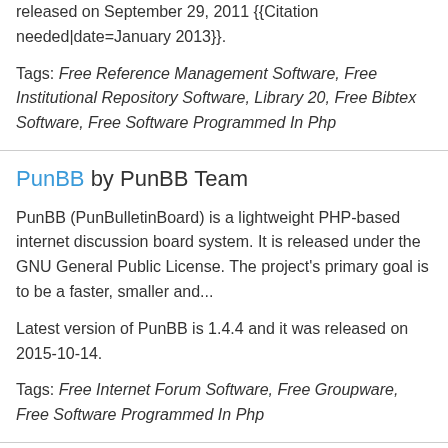released on September 29, 2011 {{Citation needed|date=January 2013}}.
Tags: Free Reference Management Software, Free Institutional Repository Software, Library 20, Free Bibtex Software, Free Software Programmed In Php
PunBB by PunBB Team
PunBB (PunBulletinBoard) is a lightweight PHP-based internet discussion board system. It is released under the GNU General Public License. The project's primary goal is to be a faster, smaller and...
Latest version of PunBB is 1.4.4 and it was released on 2015-10-14.
Tags: Free Internet Forum Software, Free Groupware, Free Software Programmed In Php
Simple Machines Forum by Simple